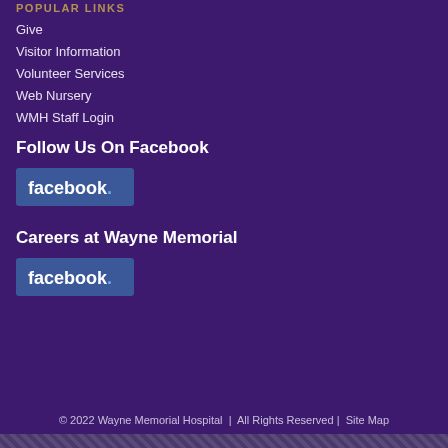POPULAR LINKS
Give
Visitor Information
Volunteer Services
Web Nursery
WMH Staff Login
Follow Us On Facebook
[Figure (logo): Facebook logo button with blue background and white 'facebook.' text]
Careers at Wayne Memorial
[Figure (logo): Facebook logo button with blue background and white 'facebook.' text]
© 2022 Wayne Memorial Hospital  |  All Rights Reserved |  Site Map